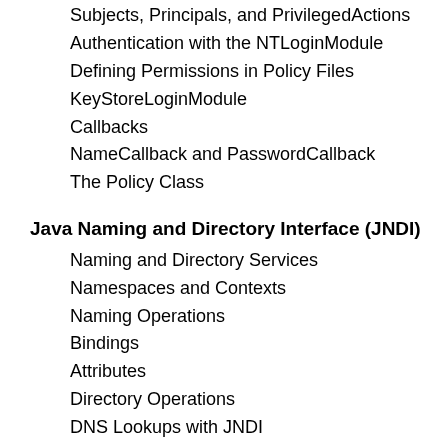Subjects, Principals, and PrivilegedActions
Authentication with the NTLoginModule
Defining Permissions in Policy Files
KeyStoreLoginModule
Callbacks
NameCallback and PasswordCallback
The Policy Class
Java Naming and Directory Interface (JNDI)
Naming and Directory Services
Namespaces and Contexts
Naming Operations
Bindings
Attributes
Directory Operations
DNS Lookups with JNDI
JNDI in J2EE